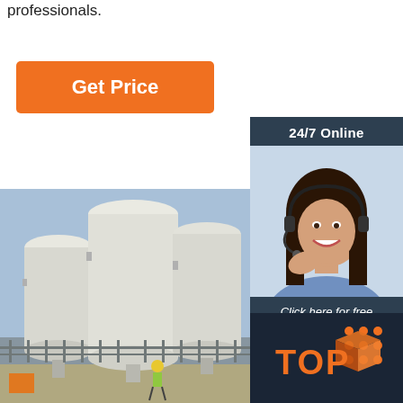professionals.
Get Price
24/7 Online
[Figure (photo): Woman with headset smiling, customer support representative]
Click here for free chat !
QUOTATION
[Figure (photo): Large white industrial cryogenic/gas storage tanks at an outdoor facility, with a worker in a yellow hard hat visible at the base]
[Figure (other): TOP badge with orange dots pattern on dark background]